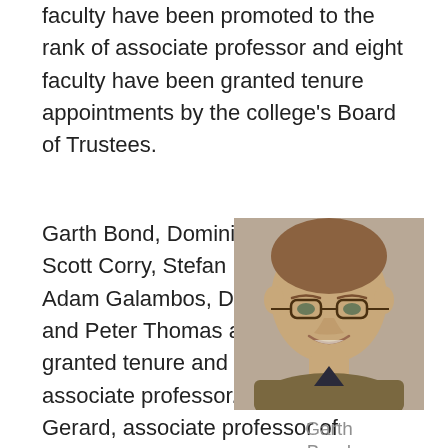faculty have been promoted to the rank of associate professor and eight faculty have been granted tenure appointments by the college's Board of Trustees.
Garth Bond, Dominica Chang, Scott Corry, Stefan Debbert, Adam Galambos, Doug Martin and Peter Thomas all have been granted tenure and promoted to associate professor. David Gerard, associate professor of economics, also has been granted tenure.
[Figure (photo): Headshot photo of Garth Bond, a man with short brown hair wearing glasses and a tan jacket over a dark shirt, smiling.]
Garth Bond
Bond joined the English department in 2004 after teaching at Temple University and the